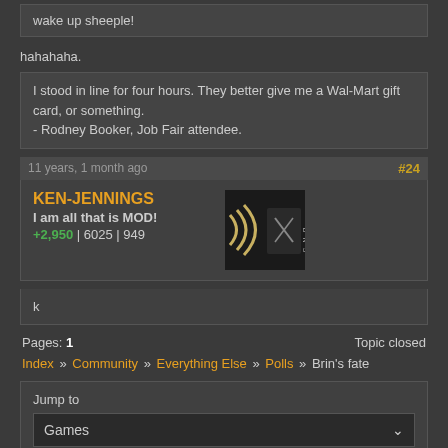wake up sheeple!
hahahaha.
I stood in line for four hours. They better give me a Wal-Mart gift card, or something.
- Rodney Booker, Job Fair attendee.
11 years, 1 month ago  #24
KEN-JENNINGS
I am all that is MOD!
+2,950 | 6025 | 949
k
Pages: 1   Topic closed
Index » Community » Everything Else » Polls » Brin's fate
Jump to
Games
Go
Privacy Policy - © 2022 Jeff Minard